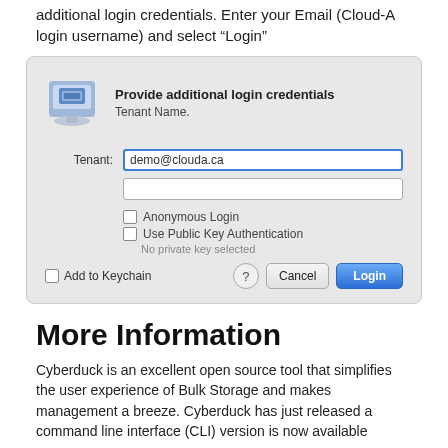additional login credentials. Enter your Email (Cloud-A login username) and select “Login”
[Figure (screenshot): macOS Cyberduck dialog box titled 'Provide additional login credentials' with Tenant Name subtitle. Shows a blue drive icon, a Tenant field filled with 'demo@clouda.ca', a blank password field, unchecked 'Anonymous Login' and 'Use Public Key Authentication' checkboxes with 'No private key selected' note, an 'Add to Keychain' checkbox, and Cancel/Login buttons at the bottom.]
More Information
Cyberduck is an excellent open source tool that simplifies the user experience of Bulk Storage and makes management a breeze. Cyberduck has just released a command line interface (CLI) version is now available